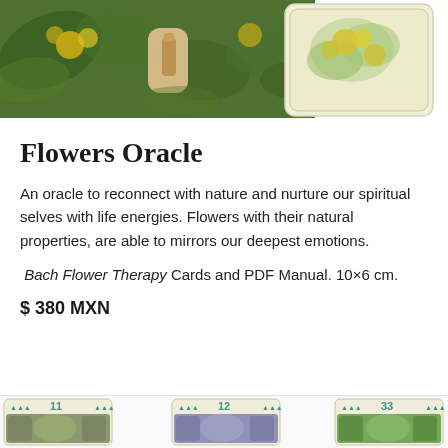[Figure (photo): Two oracle/tarot cards shown from above. Main card shows botanical illustration with green leaves, yellow flowers, a hand holding a bottle. A second card is overlapping to the right showing yellow flowers on cream background with rounded corners.]
Flowers Oracle
An oracle to reconnect with nature and nurture our spiritual selves with life energies. Flowers with their natural properties, are able to mirrors our deepest emotions.
Bach Flower Therapy Cards and PDF Manual. 10×6 cm.
$ 380 MXN
[Figure (photo): Bottom strip showing three partial tarot/oracle cards numbered 11, 12, and 33 with botanical illustrations in teal/green color scheme.]